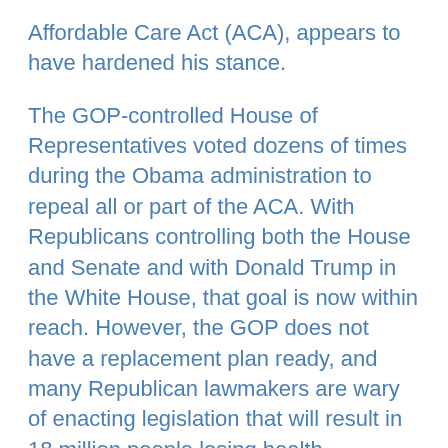Affordable Care Act (ACA), appears to have hardened his stance.
The GOP-controlled House of Representatives voted dozens of times during the Obama administration to repeal all or part of the ACA. With Republicans controlling both the House and Senate and with Donald Trump in the White House, that goal is now within reach. However, the GOP does not have a replacement plan ready, and many Republican lawmakers are wary of enacting legislation that will result in 18 million people losing health insurance within the first year, with that number climbing to 32 million within a decade, according to the Congressional Budget Office.